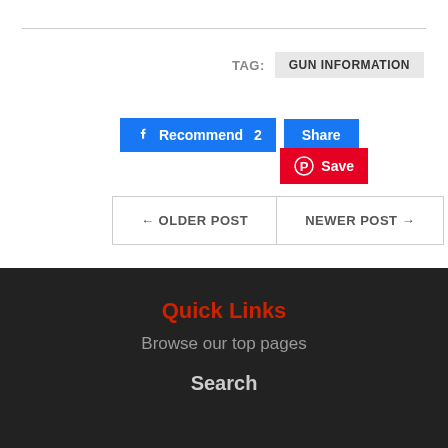TAG: GUN INFORMATION
[Figure (screenshot): Facebook Recommend 2 button (blue), Share button (blue), and Pinterest Save button (red)]
← OLDER POST   NEWER POST →
Quick Links
Browse our top pages
Search